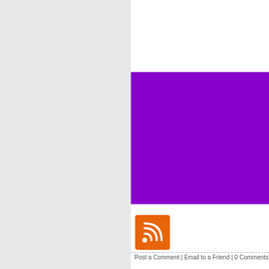[Figure (other): Left gray sidebar panel]
[Figure (other): Purple banner/header block]
[Figure (logo): Orange RSS feed icon square]
Post a Comment | Email to a Friend | 0 Comments
Screen Printed REUSABL
Tuesday 4th August, 2020